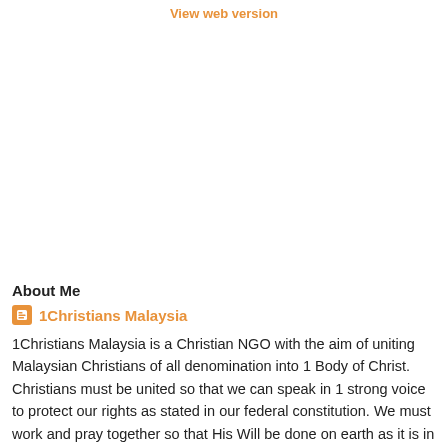View web version
About Me
1Christians Malaysia
1Christians Malaysia is a Christian NGO with the aim of uniting Malaysian Christians of all denomination into 1 Body of Christ. Christians must be united so that we can speak in 1 strong voice to protect our rights as stated in our federal constitution. We must work and pray together so that His Will be done on earth as it is in